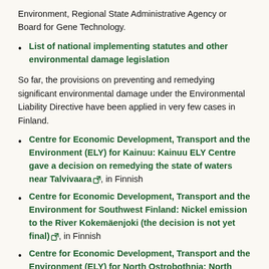Environment, Regional State Administrative Agency or Board for Gene Technology.
List of national implementing statutes and other environmental damage legislation
So far, the provisions on preventing and remedying significant environmental damage under the Environmental Liability Directive have been applied in very few cases in Finland.
Centre for Economic Development, Transport and the Environment (ELY) for Kainuu: Kainuu ELY Centre gave a decision on remedying the state of waters near Talvivaara [link], in Finnish
Centre for Economic Development, Transport and the Environment for Southwest Finland: Nickel emission to the River Kokemäenjoki (the decision is not yet final) [link], in Finnish
Centre for Economic Development, Transport and the Environment (ELY) for North Ostrobothnia: North Ostrobothnia ELY Centre is making preparations to close down the Hituva mine in